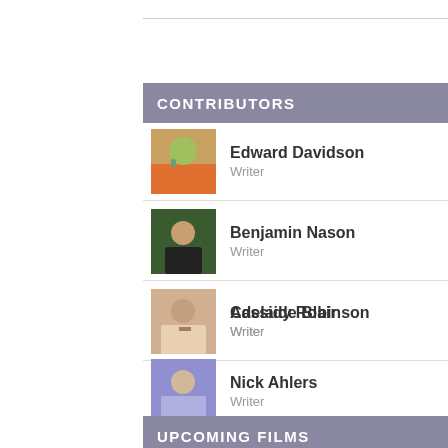CONTRIBUTORS
Edward Davidson — Writer
Benjamin Nason — Writer
Adelaide Blair — Writer
Cassidy Robinson — Writer
Nick Ahlers — Writer
VIEW ALL
UPCOMING FILMS